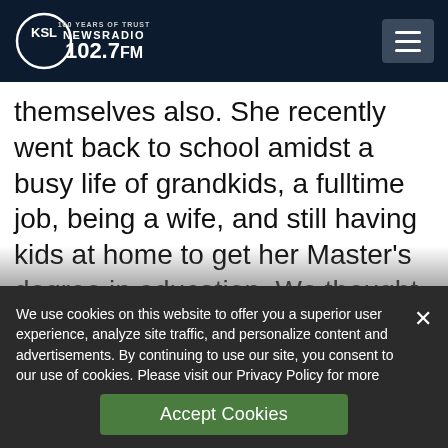KSL NewsRadio 102.7 FM — 100 Years of Trust
themselves also. She recently went back to school amidst a busy life of grandkids, a fulltime job, being a wife, and still having kids at home to get her Master's degree in education. We thought she was crazy, but she went to work, completed the program in
We use cookies on this website to offer you a superior user experience, analyze site traffic, and personalize content and advertisements. By continuing to use our site, you consent to our use of cookies. Please visit our Privacy Policy for more information.
Accept Cookies